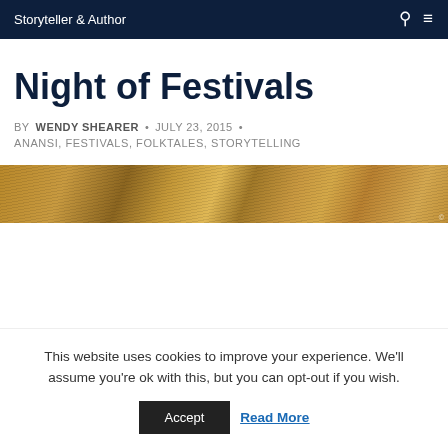Storyteller & Author
Night of Festivals
BY WENDY SHEARER • JULY 23, 2015 •
ANANSI, FESTIVALS, FOLKTALES, STORYTELLING
[Figure (photo): Close-up photo of golden/warm-toned woven or textured material with diagonal striped pattern]
This website uses cookies to improve your experience. We'll assume you're ok with this, but you can opt-out if you wish. Accept  Read More